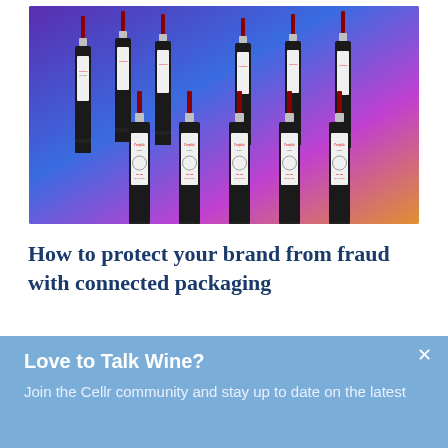[Figure (photo): Photo of multiple Penfolds wine bottles with red capsules and white labels arranged in two rows against a colorful purple and blue gradient background]
How to protect your brand from fraud with connected packaging
April 29, 2022
With counterfeit goods on the rise globally it has never been more important to protect your brand...
Love to Talk Wine?
Join the Cellr community and stay up to date on the latest